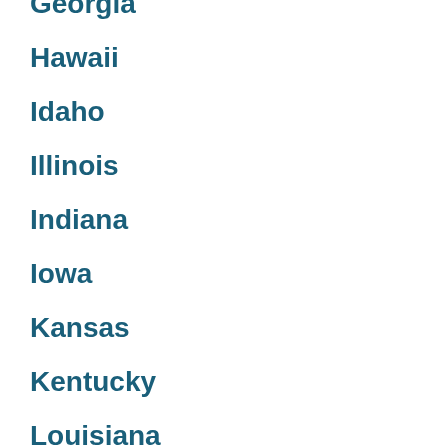Georgia
Hawaii
Idaho
Illinois
Indiana
Iowa
Kansas
Kentucky
Louisiana
Maine
Maryland
Massachusetts